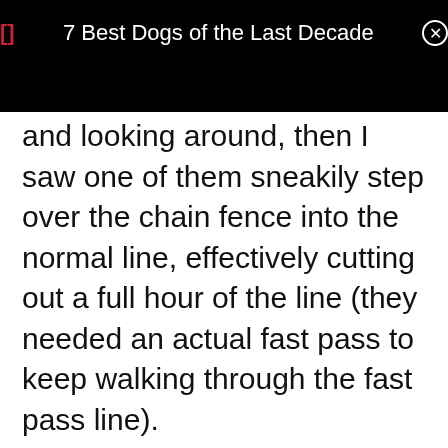7 Best Dogs of the Last Decade
and looking around, then I saw one of them sneakily step over the chain fence into the normal line, effectively cutting out a full hour of the line (they needed an actual fast pass to keep walking through the fast pass line).
I started calling them out saying ‘Oi what do you think you’re doing, nah,